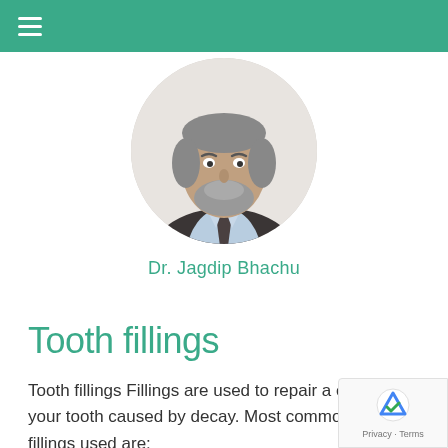Navigation bar with hamburger menu
[Figure (photo): Circular cropped headshot of Dr. Jagdip Bhachu, a man in a dark suit and light blue shirt with tie, grey beard]
Dr. Jagdip Bhachu
Tooth fillings
Tooth fillings Fillings are used to repair a cavity in your tooth caused by decay. Most common tooth fillings used are: